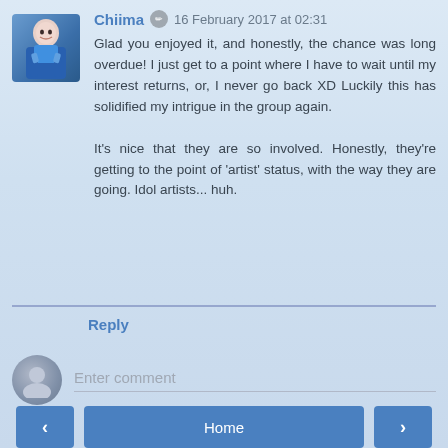Chiima  16 February 2017 at 02:31
Glad you enjoyed it, and honestly, the chance was long overdue! I just get to a point where I have to wait until my interest returns, or, I never go back XD Luckily this has solidified my intrigue in the group again.

It's nice that they are so involved. Honestly, they're getting to the point of 'artist' status, with the way they are going. Idol artists... huh.
Reply
Enter comment
< Home >